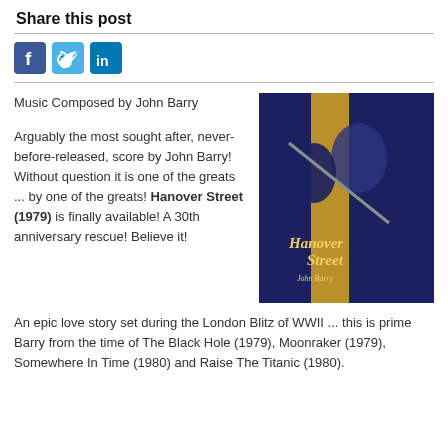Share this post
[Figure (logo): Social media share buttons: Facebook, Twitter, LinkedIn]
Music Composed by John Barry
[Figure (photo): Hanover Street (1979) movie soundtrack cover art featuring illustrated WWII-era figures with text 'Hanover Street' and 'John Barry']
Arguably the most sought after, never-before-released, score by John Barry! Without question it is one of the greats ... by one of the greats! Hanover Street (1979) is finally available! A 30th anniversary rescue! Believe it!
An epic love story set during the London Blitz of WWII ... this is prime Barry from the time of The Black Hole (1979), Moonraker (1979), Somewhere In Time (1980) and Raise The Titanic (1980).